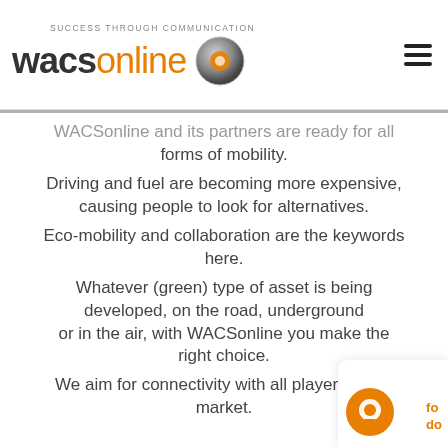WACSonline — SUCCESS THROUGH COMMUNICATION
WACSonline and its partners are ready for all forms of mobility. Driving and fuel are becoming more expensive, causing people to look for alternatives. Eco-mobility and collaboration are the keywords here. Whatever (green) type of asset is being developed, on the road, underground or in the air, with WACSonline you make the right choice. We aim for connectivity with all players in the market.